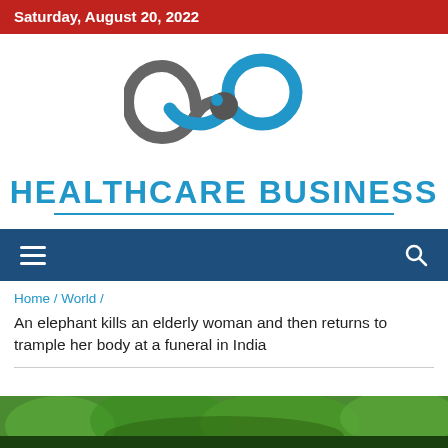Saturday, August 20, 2022
[Figure (logo): Healthcare Business logo: infinity/loop symbol in blue and gray, with the text HEALTHCARE BUSINESS in large blue bold letters below it]
≡  🔍
Home / World /
An elephant kills an elderly woman and then returns to trample her body at a funeral in India
[Figure (photo): Partial photo strip at the bottom of the page showing green foliage/trees]